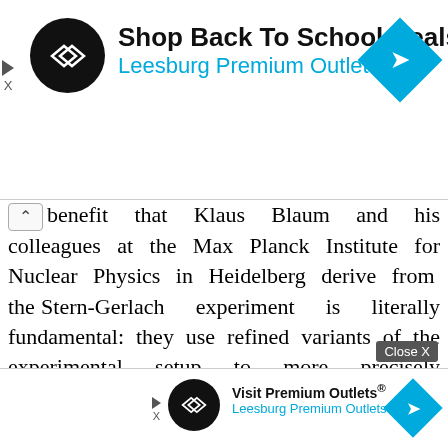[Figure (screenshot): Advertisement banner for Leesburg Premium Outlets with logo, headline 'Shop Back To School Deals', subhead 'Leesburg Premium Outlets', and navigation diamond icon]
benefit that Klaus Blaum and his colleagues at the Max Planck Institute for Nuclear Physics in Heidelberg derive from the Stern-Gerlach experiment is literally fundamental: they use refined variants of the experimental setup to more precisely determine fundamental physical constants, such as the mass of an electron determine.
According to the Max Planck Director, the precision of these measurements is now so high [ad overlay] sions,
[Figure (screenshot): Small advertisement banner overlay for Leesburg Premium Outlets with 'Visit Premium Outlets®' text, logo, and Close X button]